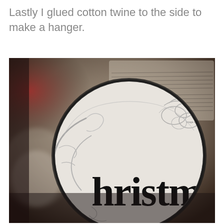Lastly I glued cotton twine to the side to make a hanger.
[Figure (photo): Close-up black and white photo of a circular ornament with decorative Victorian-style typography reading 'Christmas', featuring ornate scrollwork and floral embellishments, with a glittery black border. Background shows music sheet paper and other blurred ornaments with hints of red.]